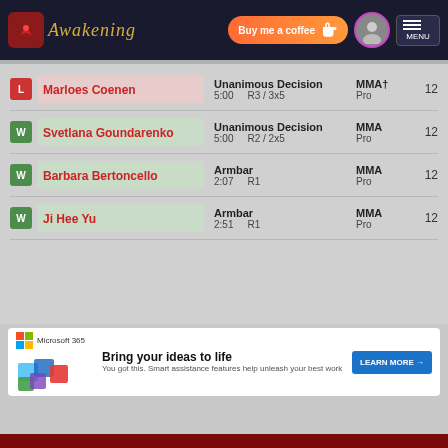[Figure (screenshot): Website header with Awakening logo, Buy me a coffee button, and menu button]
| Result | Opponent | Method | Time | Round | Sport | Level | Num |
| --- | --- | --- | --- | --- | --- | --- | --- |
| L | Marloes Coenen | Unanimous Decision | 5:00 | R3 / 3x5 | MMA† | Pro | 12 |
| W | Svetlana Goundarenko | Unanimous Decision | 5:00 | R2 / 2x5 | MMA | Pro | 12 |
| W | Barbara Bertoncello | Armbar | 2:07 | R1 | MMA | Pro | 12 |
| W | Ji Hee Yu | Armbar | 2:51 | R1 | MMA | Pro | 12 |
[Figure (screenshot): Microsoft 365 advertisement banner: Bring your ideas to life. Learn More button.]